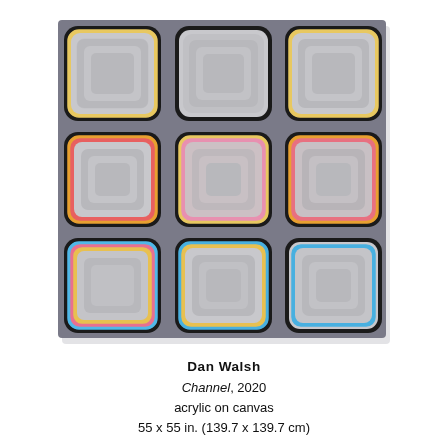[Figure (illustration): Painting titled 'Channel' by Dan Walsh (2020). A 3x3 grid of rounded-corner square panels on a dark gray background. Top row: squares with yellow outer border lines. Middle row: squares with orange/red and pink border lines. Bottom row: squares with blue, pink, and yellow border lines. Each square has concentric rounded rectangle shapes in gray tones.]
Dan Walsh
Channel, 2020
acrylic on canvas
55 x 55 in. (139.7 x 139.7 cm)